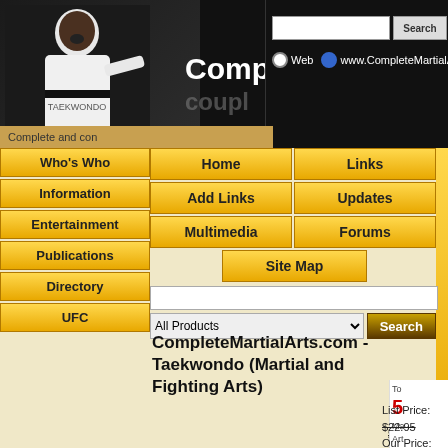[Figure (screenshot): Website header with martial arts practitioner photo on black background, 'Comple' logo text visible, Google-style search bar with 'Web' and 'www.CompleteMartialArts.com' radio options, and a Search button]
Complete and con
Who's Who
Information
Entertainment
Publications
Directory
UFC
Home
Links
Add Links
Updates
Multimedia
Forums
Site Map
CompleteMartialArts.com - Taekwondo (Martial and Fighting Arts)
List Price:
$22.95
Our Price:
$22.95
Availability:
Usually ships in 24 hours